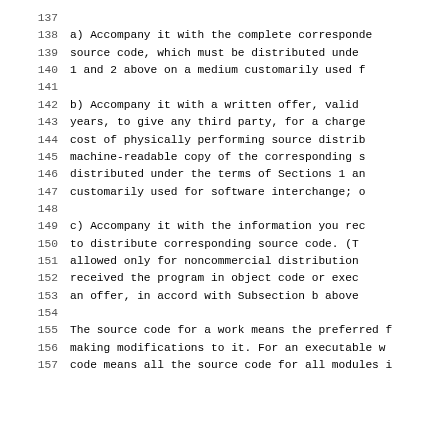138-140: a) Accompany it with the complete corresponding source code, which must be distributed under the terms of Sections 1 and 2 above on a medium customarily used for software interchange;
142-147: b) Accompany it with a written offer, valid for three years, to give any third party, for a charge no more than your cost of physically performing source distribution, a complete machine-readable copy of the corresponding source code, to be distributed under the terms of Sections 1 and 2 above on a medium customarily used for software interchange; or,
149-153: c) Accompany it with the information you received as to the offer to distribute corresponding source code. (This alternative is allowed only for noncommercial distribution and only if you received the program in object code or executable form with such an offer, in accord with Subsection b above.)
155-157: The source code for a work means the preferred form of the work for making modifications to it. For an executable work, complete source code means all the source code for all modules it contains,